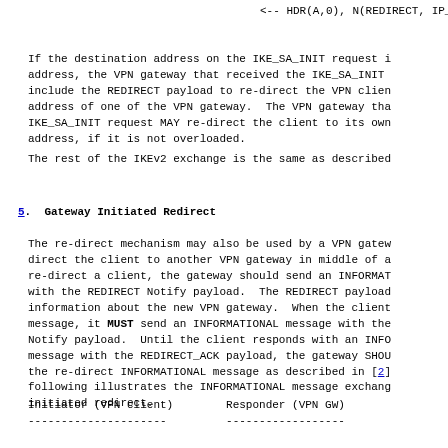<-- HDR(A,0), N(REDIRECT, IP_R)
If the destination address on the IKE_SA_INIT request i address, the VPN gateway that received the IKE_SA_INIT include the REDIRECT payload to re-direct the VPN clien address of one of the VPN gateway.  The VPN gateway tha IKE_SA_INIT request MAY re-direct the client to its own address, if it is not overloaded.
The rest of the IKEv2 exchange is the same as described
5.  Gateway Initiated Redirect
The re-direct mechanism may also be used by a VPN gatew direct the client to another VPN gateway in middle of a re-direct a client, the gateway should send an INFORMAT with the REDIRECT Notify payload.  The REDIRECT payload information about the new VPN gateway.  When the client message, it MUST send an INFORMATIONAL message with the Notify payload.  Until the client responds with an INFO message with the REDIRECT_ACK payload, the gateway SHOU the re-direct INFORMATIONAL message as described in [2] following illustrates the INFORMATIONAL message exchang initiated redirect.
Initiator (VPN client)        Responder (VPN GW)
---------------------         -----------------